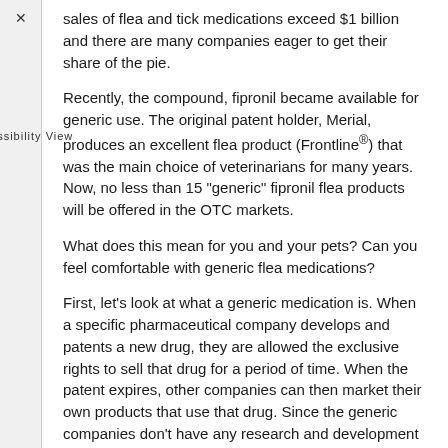sales of flea and tick medications exceed $1 billion and there are many companies eager to get their share of the pie.
Recently, the compound, fipronil became available for generic use. The original patent holder, Merial, produces an excellent flea product (Frontline®) that was the main choice of veterinarians for many years. Now, no less than 15 "generic" fipronil flea products will be offered in the OTC markets.
What does this mean for you and your pets? Can you feel comfortable with generic flea medications?
First, let's look at what a generic medication is. When a specific pharmaceutical company develops and patents a new drug, they are allowed the exclusive rights to sell that drug for a period of time. When the patent expires, other companies can then market their own products that use that drug. Since the generic companies don't have any research and development costs and very little advertising is needed, their costs are much lower